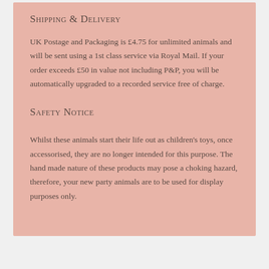Shipping & Delivery
UK Postage and Packaging is £4.75 for unlimited animals and will be sent using a 1st class service via Royal Mail. If your order exceeds £50 in value not including P&P, you will be automatically upgraded to a recorded service free of charge.
Safety Notice
Whilst these animals start their life out as children's toys, once accessorised, they are no longer intended for this purpose. The hand made nature of these products may pose a choking hazard, therefore, your new party animals are to be used for display purposes only.